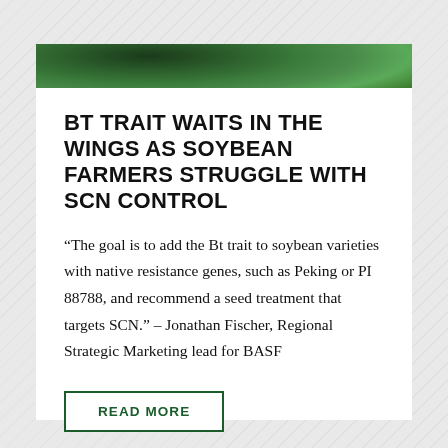[Figure (photo): Close-up photograph of dark green soybean leaves, partially visible at the top of the card.]
BT TRAIT WAITS IN THE WINGS AS SOYBEAN FARMERS STRUGGLE WITH SCN CONTROL
“The goal is to add the Bt trait to soybean varieties with native resistance genes, such as Peking or PI 88788, and recommend a seed treatment that targets SCN.” – Jonathan Fischer, Regional Strategic Marketing lead for BASF
READ MORE